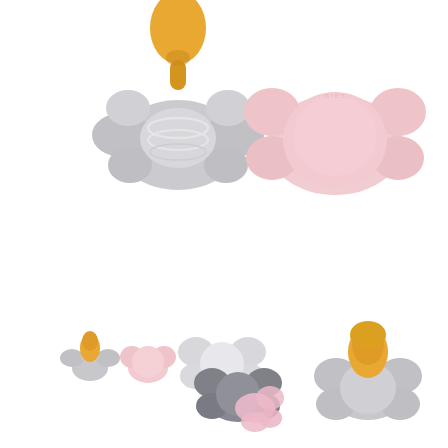[Figure (photo): Product photo showing baby pacifiers. Top row: two large pacifiers — one silver/gray with a yellow/amber latex nipple on the left, and one light pink butterfly-shaped silicone pacifier on the right. Bottom row: three smaller pacifier images showing different angles and colors — left pair shows the gray+yellow and pink pacifiers small scale; center shows two butterfly pacifiers in silver/white and dark gray/pink; right shows a gray+yellow latex pacifier close-up.]